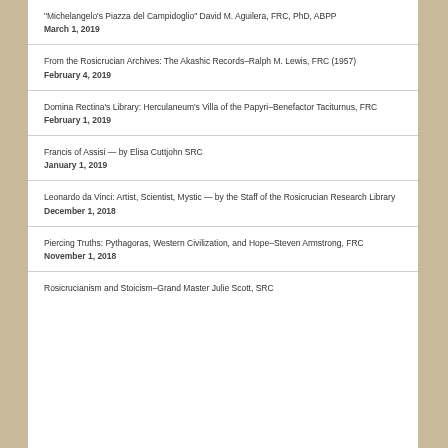“Michelangelo’s Piazza del Campidoglio” David M. Aguilera, FRC, PhD, ABPP
March 1, 2019
From the Rosicrucian Archives: The Akashic Records–Ralph M. Lewis, FRC (1957)
February 4, 2019
Domina Rectina’s Library: Herculaneum’s Villa of the Papyri–Benefactor Taciturnus, FRC
February 1, 2019
Francis of Assisi — by Elisa Cuttjohn SRC
January 1, 2019
Leonardo da Vinci: Artist, Scientist, Mystic — by the Staff of the Rosicrucian Research Library
December 1, 2018
Piercing Truths: Pythagoras, Western Civilization, and Hope–Steven Armstrong, FRC
November 1, 2018
Rosicrucianism and Stoicism–Grand Master Julie Scott, SRC